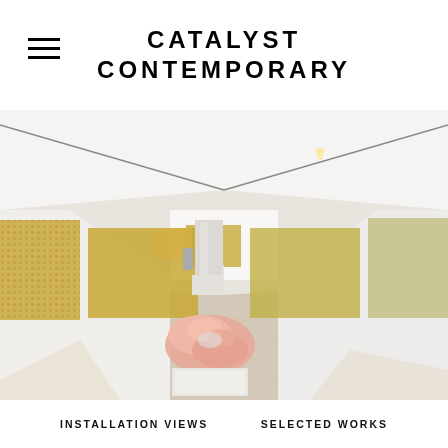CATALYST CONTEMPORARY
[Figure (photo): Interior gallery view showing a long white-walled contemporary art gallery with track lighting. Large golden/mosaic-style paintings hang on both side walls. A pink sculptural form (organic, knotted shape) sits on a white plinth in the foreground. Another pink sculpture on a plinth is visible in the middle distance. Light wood flooring with sunlight patterns on the floor.]
INSTALLATION VIEWS
SELECTED WORKS